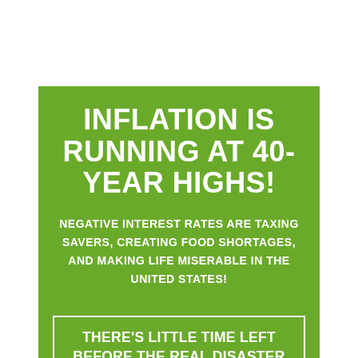INFLATION IS RUNNING AT 40-YEAR HIGHS!
NEGATIVE INTEREST RATES ARE TAXING SAVERS, CREATING FOOD SHORTAGES, AND MAKING LIFE MISERABLE IN THE UNITED STATES!
THERE'S LITTLE TIME LEFT BEFORE THE REAL DISASTER OCCURS!